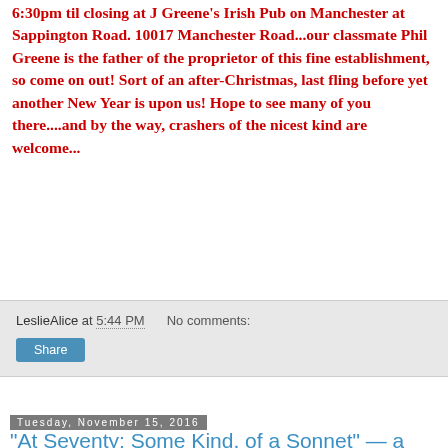6:30pm til closing at J Greene's Irish Pub on Manchester at Sappington Road. 10017 Manchester Road...our classmate Phil Greene is the father of the proprietor of this fine establishment, so come on out! Sort of an after-Christmas, last fling before yet another New Year is upon us! Hope to see many of you there....and by the way, crashers of the nicest kind are welcome...
LeslieAlice at 5:44 PM    No comments:
Share
Tuesday, November 15, 2016
“At Seventy: Some Kind, of a Sonnet” — a poem by Alan Yount the Count
A busy guy ~ a new poem by Alan Yount, another of our talented classmates, both as a musician and a poet!  Check out the website link for his latest, a sonnet about, well really about aging!   I have been privileged and honored to read